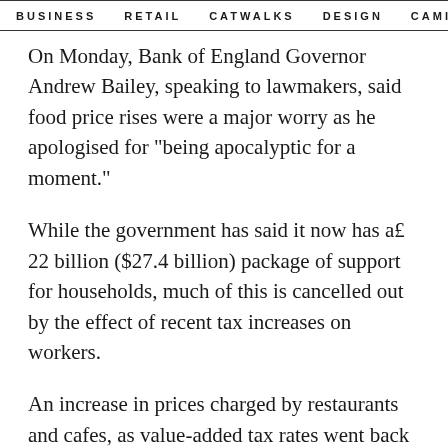BUSINESS   RETAIL   CATWALKS   DESIGN   CAMI >
On Monday, Bank of England Governor Andrew Bailey, speaking to lawmakers, said food price rises were a major worry as he apologised for "being apocalyptic for a moment."
While the government has said it now has a£ 22 billion ($27.4 billion) package of support for households, much of this is cancelled out by the effect of recent tax increases on workers.
An increase in prices charged by restaurants and cafes, as value-added tax rates went back to their pre-pandemic levels in April, also added to the inflation jump last month.